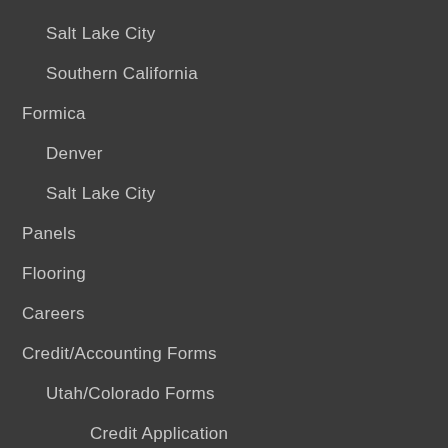Salt Lake City
Southern California
Formica
Denver
Salt Lake City
Panels
Flooring
Careers
Credit/Accounting Forms
Utah/Colorado Forms
Credit Application